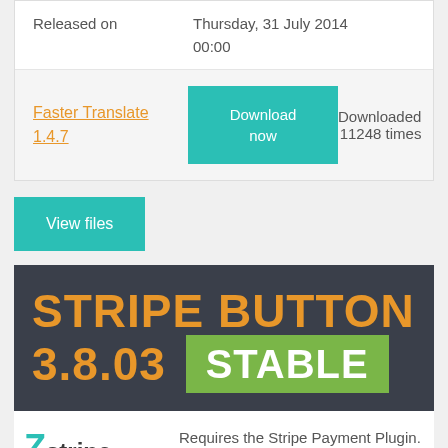| Field | Value |
| --- | --- |
| Released on | Thursday, 31 July 2014
00:00 |
| Faster Translate 1.4.7 | Download now | Downloaded 11248 times |
View files
[Figure (other): Stripe Button 3.8.03 STABLE banner on dark background with orange and white text]
[Figure (logo): Stripe Button plugin logo with teal Z and green button text]
Requires the Stripe Payment Plugin.
Replaces simple shortcodes